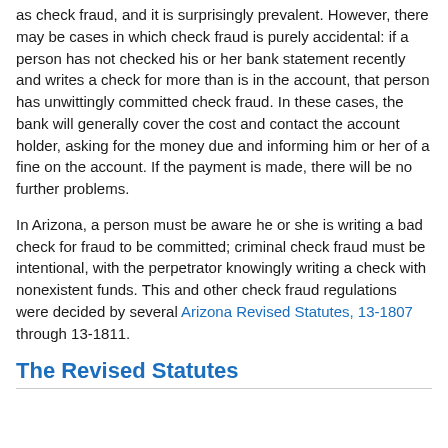as check fraud, and it is surprisingly prevalent. However, there may be cases in which check fraud is purely accidental: if a person has not checked his or her bank statement recently and writes a check for more than is in the account, that person has unwittingly committed check fraud. In these cases, the bank will generally cover the cost and contact the account holder, asking for the money due and informing him or her of a fine on the account. If the payment is made, there will be no further problems.
In Arizona, a person must be aware he or she is writing a bad check for fraud to be committed; criminal check fraud must be intentional, with the perpetrator knowingly writing a check with nonexistent funds. This and other check fraud regulations were decided by several Arizona Revised Statutes, 13-1807 through 13-1811.
The Revised Statutes